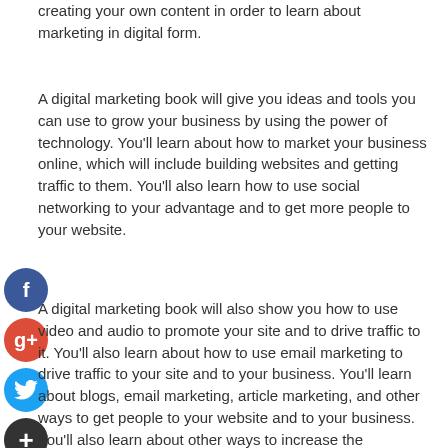creating your own content in order to learn about marketing in digital form.
A digital marketing book will give you ideas and tools you can use to grow your business by using the power of technology. You'll learn about how to market your business online, which will include building websites and getting traffic to them. You'll also learn how to use social networking to your advantage and to get more people to your website.
A digital marketing book will also show you how to use video and audio to promote your site and to drive traffic to it. You'll also learn about how to use email marketing to drive traffic to your site and to your business. You'll learn about blogs, email marketing, article marketing, and other ways to get people to your website and to your business. You'll also learn about other ways to increase the popularity of your site.